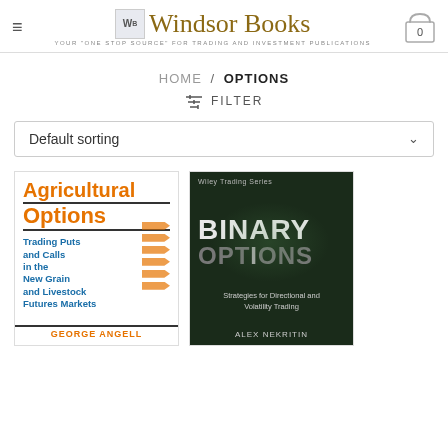[Figure (logo): Windsor Books logo with hamburger menu and shopping cart icon showing 0 items]
HOME / OPTIONS
≡≡ FILTER
Default sorting
[Figure (photo): Book cover: Agricultural Options - Trading Puts and Calls in the New Grain and Livestock Futures Markets by George Angell. White cover with orange bold title and blue subtitle text.]
[Figure (photo): Book cover: Binary Options - Strategies for Directional and Volatility Trading by Alex Nekritin. Dark green cover with large white/grey title text. Wiley Trading Series.]